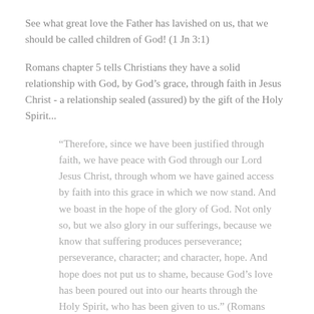See what great love the Father has lavished on us, that we should be called children of God! (1 Jn 3:1)
Romans chapter 5 tells Christians they have a solid relationship with God, by God’s grace, through faith in Jesus Christ - a relationship sealed (assured) by the gift of the Holy Spirit...
“Therefore, since we have been justified through faith, we have peace with God through our Lord Jesus Christ, through whom we have gained access by faith into this grace in which we now stand. And we boast in the hope of the glory of God. Not only so, but we also glory in our sufferings, because we know that suffering produces perseverance; perseverance, character; and character, hope. And hope does not put us to shame, because God’s love has been poured out into our hearts through the Holy Spirit, who has been given to us.” (Romans 5:1-5)
Any gift we give to God or receive from God cannot buy God’s favour. It is instead a sign of our new family status, by God’s grace.